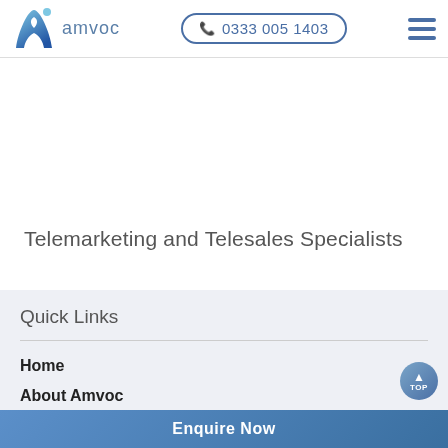[Figure (logo): Amvoc logo: blue gradient letter A with a dot, and text 'amvoc' beside it]
0333 005 1403 | hamburger menu
Telemarketing and Telesales Specialists
Quick Links
Home
About Amvoc
Enquire Now